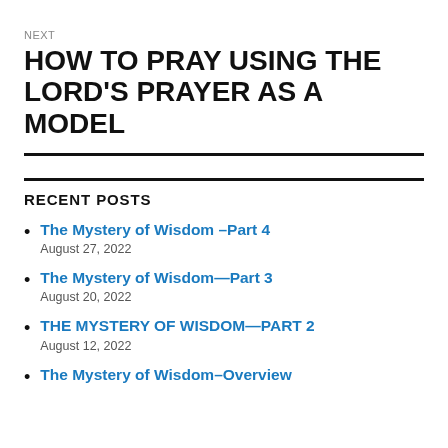NEXT
HOW TO PRAY USING THE LORD'S PRAYER AS A MODEL
RECENT POSTS
The Mystery of Wisdom –Part 4
August 27, 2022
The Mystery of Wisdom—Part 3
August 20, 2022
THE MYSTERY OF WISDOM—PART 2
August 12, 2022
The Mystery of Wisdom–Overview